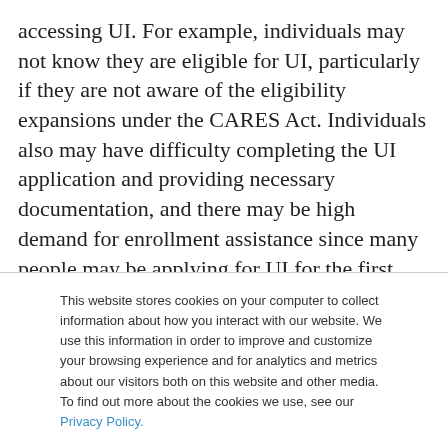accessing UI. For example, individuals may not know they are eligible for UI, particularly if they are not aware of the eligibility expansions under the CARES Act. Individuals also may have difficulty completing the UI application and providing necessary documentation, and there may be high demand for enrollment assistance since many people may be applying for UI for the first time and most will be applying from home due to social distancing policies. A recent
This website stores cookies on your computer to collect information about how you interact with our website. We use this information in order to improve and customize your browsing experience and for analytics and metrics about our visitors both on this website and other media. To find out more about the cookies we use, see our Privacy Policy.